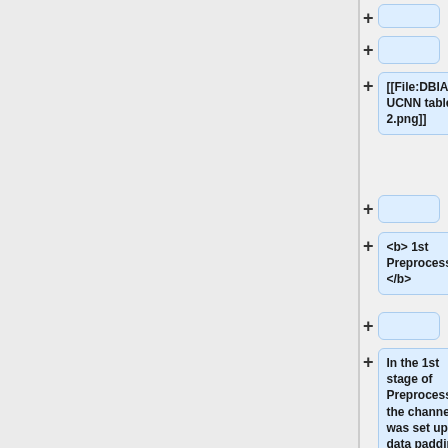[Figure (screenshot): Wiki-style editor interface showing a left grey panel and right panel with expandable content blocks. Each block has a + button and a content box. Blocks shown include: an empty block at top, a file reference block '[[File:DBIAPAVUCNN table 2.png]]', another empty block, a bold markup block '<b> 1st Preprocessing </b>', another empty block, and a text block 'In the 1st stage of Preprocessing, the channel was set up and data padding was performed on the training data.']